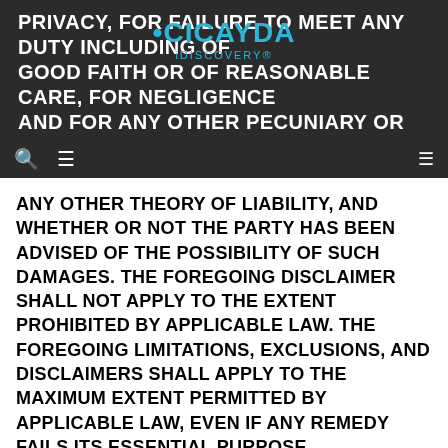PRIVACY, FOR FAILURE TO MEET ANY DUTY INCLUDING OF GOOD FAITH OR OF REASONABLE CARE, FOR NEGLIGENCE AND FOR ANY OTHER PECUNIARY OR OTHER LOSS WHATSOEVER), WHETHER IN CONTRACT, TORT OR UNDER
ANY OTHER THEORY OF LIABILITY, AND WHETHER OR NOT THE PARTY HAS BEEN ADVISED OF THE POSSIBILITY OF SUCH DAMAGES. THE FOREGOING DISCLAIMER SHALL NOT APPLY TO THE EXTENT PROHIBITED BY APPLICABLE LAW. THE FOREGOING LIMITATIONS, EXCLUSIONS, AND DISCLAIMERS SHALL APPLY TO THE MAXIMUM EXTENT PERMITTED BY APPLICABLE LAW, EVEN IF ANY REMEDY FAILS ITS ESSENTIAL PURPOSE.
12) TERM AND TERMINATION
12.1 This Agreement commences on the date You accept it and continues until Your account has been terminated by either party. If You elect to use the Product for a trial period